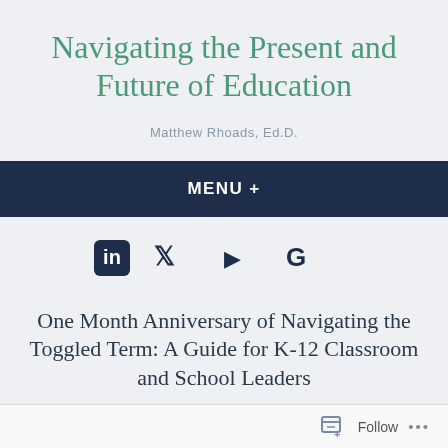Navigating the Present and Future of Education
Matthew Rhoads, Ed.D.
MENU +
[Figure (other): Social media icons: LinkedIn, Twitter, YouTube, Google]
One Month Anniversary of Navigating the Toggled Term: A Guide for K-12 Classroom and School Leaders
Follow ...